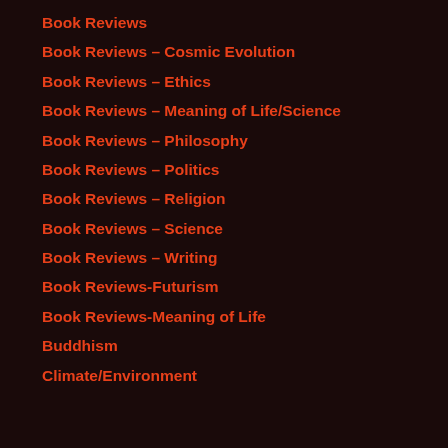Book Reviews
Book Reviews – Cosmic Evolution
Book Reviews – Ethics
Book Reviews – Meaning of Life/Science
Book Reviews – Philosophy
Book Reviews – Politics
Book Reviews – Religion
Book Reviews – Science
Book Reviews – Writing
Book Reviews-Futurism
Book Reviews-Meaning of Life
Buddhism
Climate/Environment